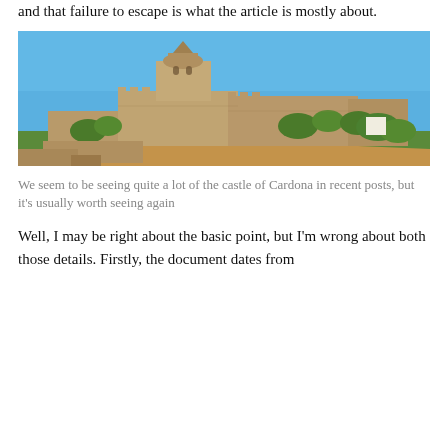and that failure to escape is what the article is mostly about.
[Figure (photo): Photograph of the castle of Cardona situated on a hilltop, with a Romanesque church tower visible at the top, stone fortress walls, and green vegetation on the hillside. Blue sky in the background.]
We seem to be seeing quite a lot of the castle of Cardona in recent posts, but it's usually worth seeing again
Well, I may be right about the basic point, but I'm wrong about both those details. Firstly, the document dates from